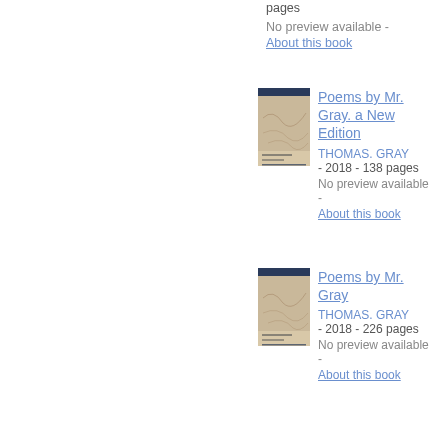pages
No preview available -
About this book
[Figure (photo): Book cover for Poems by Mr. Gray. a New Edition]
Poems by Mr. Gray. a New Edition
THOMAS. GRAY - 2018 - 138 pages
No preview available -
About this book
[Figure (photo): Book cover for Poems by Mr. Gray]
Poems by Mr. Gray
THOMAS. GRAY - 2018 - 226 pages
No preview available -
About this book